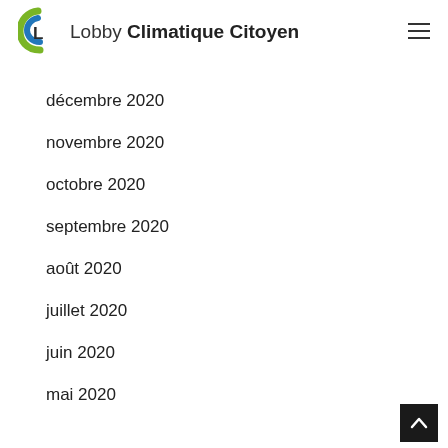Lobby Climatique Citoyen
décembre 2020
novembre 2020
octobre 2020
septembre 2020
août 2020
juillet 2020
juin 2020
mai 2020